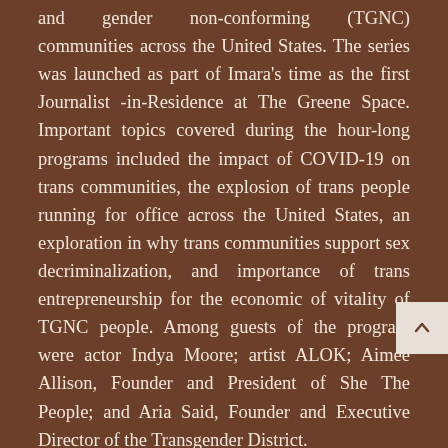and gender non-conforming (TGNC) communities across the United States. The series was launched as part of Imara's time as the first Journalist -in-Residence at The Greene Space. Important topics covered during the hour-long programs included the impact of COVID-19 on trans communities, the explosion of trans people running for office across the United States, an exploration in why trans communities support sex decriminalization, and importance of trans entrepreneurship for the economic of vitality of TGNC people. Among guests of the program were actor Indya Moore; artist ALOK; Aimee Allison, Founder and President of She The People; and Aria Said, Founder and Executive Director of the Transgender District.

In 2021, TransLash Media officially gained nonprofit status, and began accepting tax-deductible donations. The third issue of TransLash Zine...